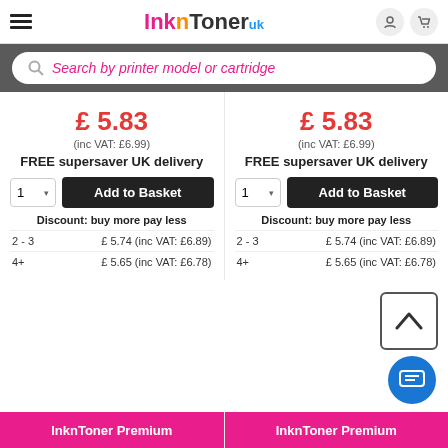InknToner UK
Search by printer model or cartridge
£ 5.83 (inc VAT: £6.99) FREE supersaver UK delivery
Discount: buy more pay less
2 - 3   £ 5.74 (inc VAT: £6.89)
4+      £ 5.65 (inc VAT: £6.78)
£ 5.83 (inc VAT: £6.99) FREE supersaver UK delivery
Discount: buy more pay less
2 - 3   £ 5.74 (inc VAT: £6.89)
4+      £ 5.65 (inc VAT: £6.78)
InknToner Premium   InknToner Premium